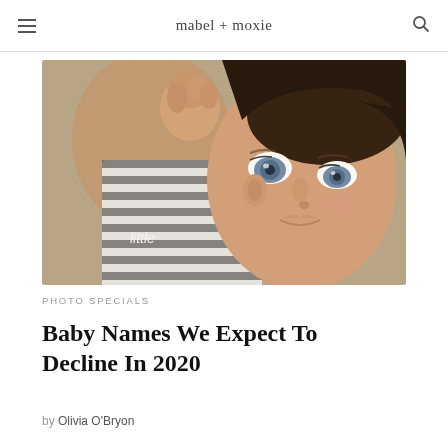mabel + moxie
[Figure (photo): Close-up photo of a newborn baby with blue eyes wearing a striped onesie with 'little' text, lying on a knit blanket, looking at the camera]
PHOTO SPECIALS
Baby Names We Expect To Decline In 2020
by Olivia O'Bryon